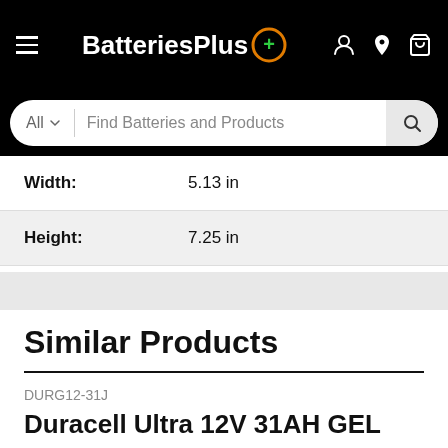BatteriesPlus
Find Batteries and Products
| Width: | 5.13 in |
| Height: | 7.25 in |
Similar Products
DURG12-31J
Duracell Ultra 12V 31AH GEL